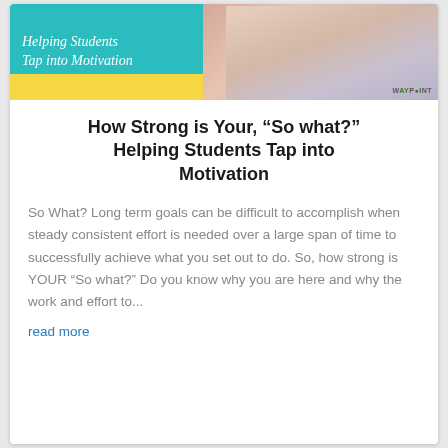[Figure (illustration): Banner image with teal background on the left showing cursive white text 'Helping Students Tap into Motivation' over a yellow stripe, and a photo of a smiling girl on the right with WAYPOINT logo watermark.]
How Strong is Your, “So what?” Helping Students Tap into Motivation
So What? Long term goals can be difficult to accomplish when steady consistent effort is needed over a large span of time to successfully achieve what you set out to do. So, how strong is YOUR “So what?” Do you know why you are here and why the work and effort to...
read more